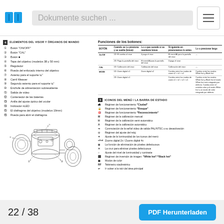Dokumente suchen ...
4 ELEMENTOS DEL VISOR Y ÓRGANOS DE MANDO
① Botón "ON/OFF"
② Botón "CAL"
③ Botón ■
④ Tapa del objetivo (modelos 38 y 50 mm)
⑤ Regulador
⑥ Rueda del enfocado interno del objetivo
⑦ Asiento para el soporte ¼"
⑧ Carril Weaver
⑨ Segundo asiento para el soporte ¼"
⑩ Enchufe de alimentación sobresaliente
⑪ Salida de video
⑫ Contenedor de las baterias
⑬ Anilla del ajuste óptico del ocular
⑭ Indicador nLED
⑮ El diafragma del objetivo (modelos 19mm)
⑯ Rueda para abrir el diafragma
[Figure (engineering-diagram): Technical exploded diagram of a thermal imaging monocular device showing numbered components]
Funciones de los botones:
| BOTÓN | Cuando se Lo presiona y se suelta (breve) | Lo que sucede si se mantiene breve | Si iguiente presionamos lo antes | Lo o presionar largo |
| --- | --- | --- | --- | --- |
| On/Off | 1D: El cambia al visor | 4 paga el visor | El menú/Al para la pantalla del visor | — |
|  | 2D: Paga la pantalla del visor | El menú/Al para la pantalla del visor | 3 paga el visor |  |
| CAL | 1D: Calibración del visor | Calibración del visor | Calibración del visor | — |
| MODE | 1D: Zoom digital x1 | Zoom digital x2 | Cambia entre los modos de zoom x2 > x1 > x2 | Cambia entre los modos White hot y Black hot |
|  | 2D: Zoom digital x1 |  | Cambia entre los modos de zoom x1 > x2 > x2 > x1 | Cambia entre los modos White hot y Black hot el modo White hot está integrado por defecto. Cambia entre el módulo color y el modo White hot a un modo de color integrado por defecto. |
5 ICONOS DEL MENÚ / LA BARRA DE ESTADO
Régimen de funcionamiento "Ciudad"
Régimen de funcionamiento "Bosque"
Régimen de funcionamiento "Reconocimiento"
M Régimen de la calibración manual
H Régimen de la calibración semi-automático
A Régimen de la calibración automático
Conmutación de la señal vídeo de salida PAL/NTSC o su desactivación
Régimen del ajuste del reloj
Ajuste de la luminosidad de los iconos del menú
x2 /x4 Zooms digital 2x / Zooms digital 4x
La función de eliminación de píxeles defectuosos
La cruz para eliminar píxeles defectuosos
Ajuste del nivel de luminosidad y contraste
Régimen de inversión de imagen: "White hot"/"Black hot"
Modos de color
RF Telémetro stadimétrico
Ir volver a la raíz del área principal
22 / 38